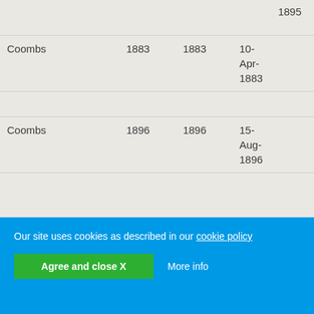|  |  |  | 1895 |
| --- | --- | --- | --- |
| Coombs | 1883 | 1883 | 10-Apr-1883 |
| Coombs | 1896 | 1896 | 15-Aug-1896 |
Our site uses cookies as described in our cookie policy
Agree and close X   More info